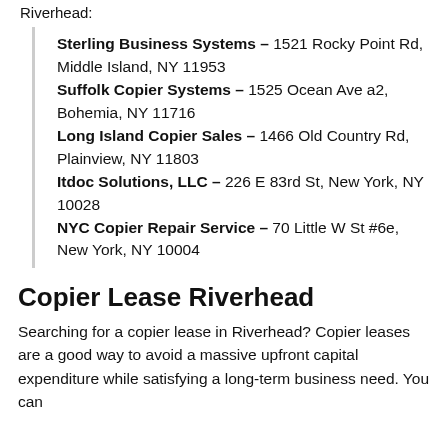Riverhead:
Sterling Business Systems – 1521 Rocky Point Rd, Middle Island, NY 11953
Suffolk Copier Systems – 1525 Ocean Ave a2, Bohemia, NY 11716
Long Island Copier Sales – 1466 Old Country Rd, Plainview, NY 11803
Itdoc Solutions, LLC – 226 E 83rd St, New York, NY 10028
NYC Copier Repair Service – 70 Little W St #6e, New York, NY 10004
Copier Lease Riverhead
Searching for a copier lease in Riverhead? Copier leases are a good way to avoid a massive upfront capital expenditure while satisfying a long-term business need. You can